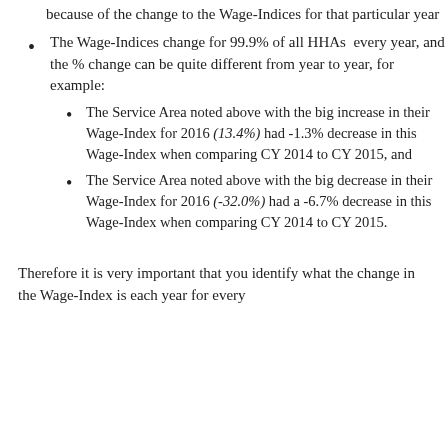because of the change to the Wage-Indices for that particular year
The Wage-Indices change for 99.9% of all HHAs  every year, and the % change can be quite different from year to year, for example:
The Service Area noted above with the big increase in their Wage-Index for 2016 (13.4%) had -1.3% decrease in this Wage-Index when comparing CY 2014 to CY 2015, and
The Service Area noted above with the big decrease in their Wage-Index for 2016 (-32.0%) had a -6.7% decrease in this Wage-Index when comparing CY 2014 to CY 2015.
Therefore it is very important that you identify what the change in the Wage-Index is each year for every